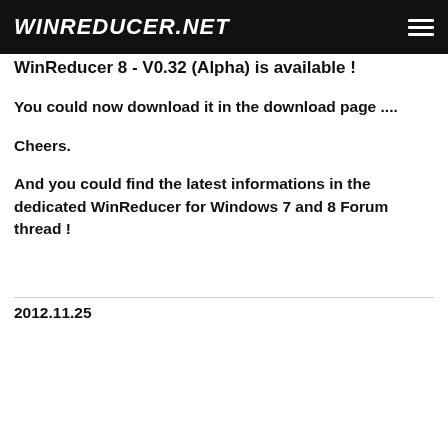WINREDUCER.NET
WinReducer 8 - V0.32 (Alpha) is available !
You could now download it in the download page ....
Cheers.
And you could find the latest informations in the dedicated WinReducer for Windows 7 and 8 Forum thread !
2012.11.25